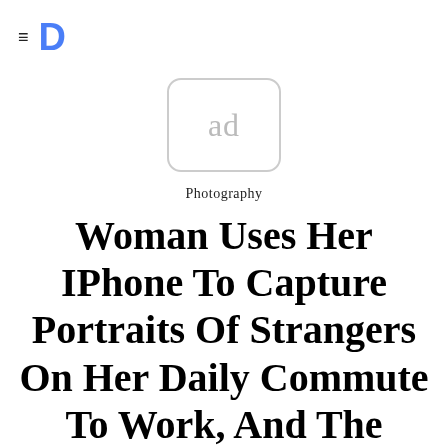≡ D
[Figure (other): Advertisement placeholder box with rounded corners containing the text 'ad' in light gray]
Photography
Woman Uses Her IPhone To Capture Portraits Of Strangers On Her Daily Commute To Work, And The Result Is Impressive